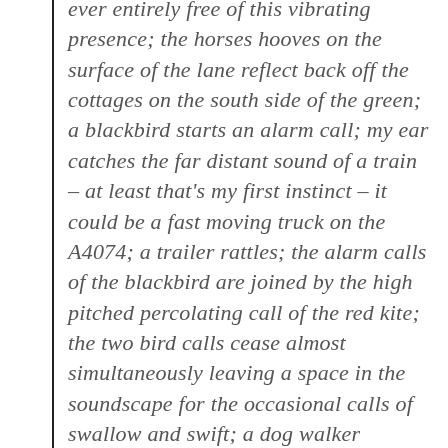ever entirely free of this vibrating presence; the horses hooves on the surface of the lane reflect back off the cottages on the south side of the green; a blackbird starts an alarm call; my ear catches the far distant sound of a train – at least that's my first instinct – it could be a fast moving truck on the A4074; a trailer rattles; the alarm calls of the blackbird are joined by the high pitched percolating call of the red kite; the two bird calls cease almost simultaneously leaving a space in the soundscape for the occasional calls of swallow and swift; a dog walker approaches; dog panting; the clink of a chain